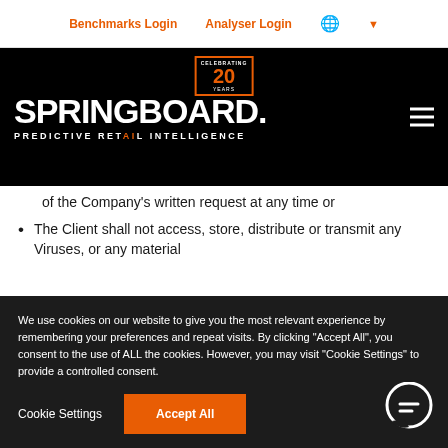Benchmarks Login   Analyser Login
[Figure (logo): Springboard logo with 20 Years celebrating badge, white text on black background. Tagline: PREDICTIVE RETAIL INTELLIGENCE]
of the Company's written request at any time or
The Client shall not access, store, distribute or transmit any Viruses, or any material
We use cookies on our website to give you the most relevant experience by remembering your preferences and repeat visits. By clicking "Accept All", you consent to the use of ALL the cookies. However, you may visit "Cookie Settings" to provide a controlled consent.
Cookie Settings   Accept All